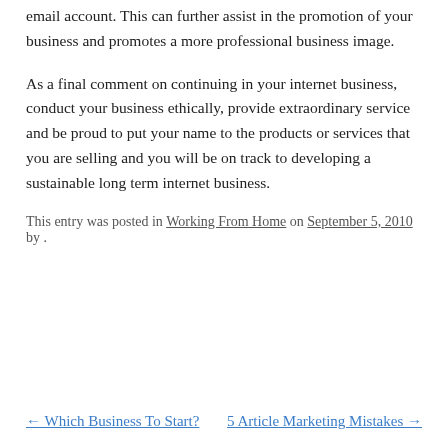email account. This can further assist in the promotion of your business and promotes a more professional business image.
As a final comment on continuing in your internet business, conduct your business ethically, provide extraordinary service and be proud to put your name to the products or services that you are selling and you will be on track to developing a sustainable long term internet business.
This entry was posted in Working From Home on September 5, 2010 by .
← Which Business To Start?
5 Article Marketing Mistakes →